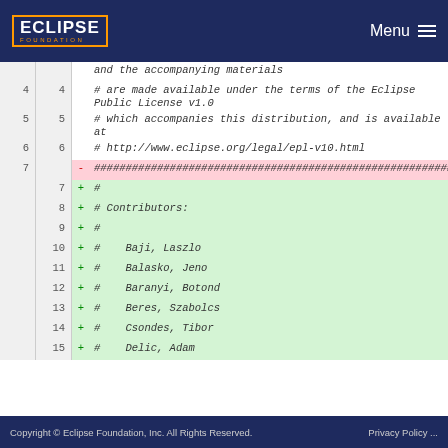Eclipse Foundation | Menu
and the accompanying materials
# are made available under the terms of the Eclipse Public License v1.0
# which accompanies this distribution, and is available at
# http://www.eclipse.org/legal/epl-v10.html
- ###########################################################
+ #
+ # Contributors:
+ #
+ #    Baji, Laszlo
+ #    Balasko, Jeno
+ #    Baranyi, Botond
+ #    Beres, Szabolcs
+ #    Csondes, Tibor
+ #    Delic, Adam
Copyright © Eclipse Foundation, Inc. All Rights Reserved.    Privacy Policy ...